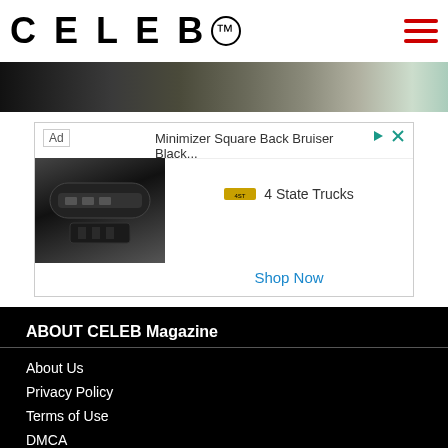CELEB™
[Figure (photo): Photo strip banner at top of page]
[Figure (other): Advertisement: Minimizer Square Back Bruiser Black... by 4 State Trucks. Shop Now button.]
ABOUT CELEB Magazine
About Us
Privacy Policy
Terms of Use
DMCA
CONNECT with CELEB Magazine
[Figure (other): Social media icons: Facebook, Twitter, Instagram, Email]